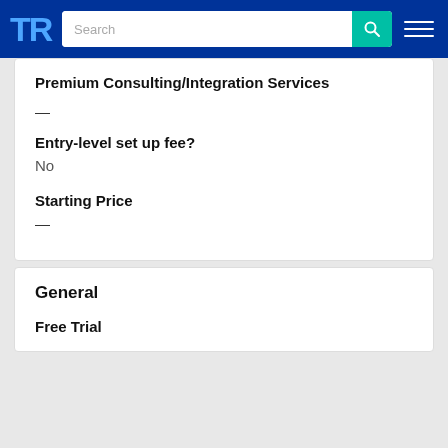TrustRadius — Search bar and navigation
Premium Consulting/Integration Services
—
Entry-level set up fee?
No
Starting Price
—
General
Free Trial